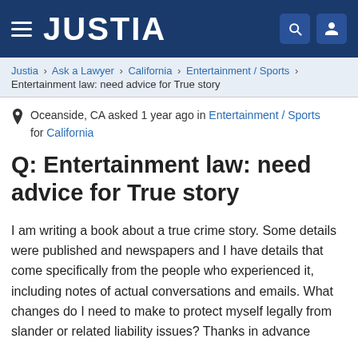JUSTIA
Justia › Ask a Lawyer › California › Entertainment / Sports › Entertainment law: need advice for True story
Oceanside, CA asked 1 year ago in Entertainment / Sports for California
Q: Entertainment law: need advice for True story
I am writing a book about a true crime story. Some details were published and newspapers and I have details that come specifically from the people who experienced it, including notes of actual conversations and emails. What changes do I need to make to protect myself legally from slander or related liability issues? Thanks in advance